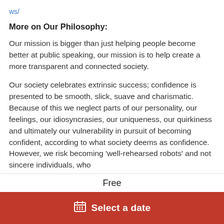ws/
More on Our Philosophy:
Our mission is bigger than just helping people become better at public speaking, our mission is to help create a more transparent and connected society.
Our society celebrates extrinsic success; confidence is presented to be smooth, slick, suave and charismatic. Because of this we neglect parts of our personality, our feelings, our idiosyncrasies, our uniqueness, our quirkiness and ultimately our vulnerability in pursuit of becoming confident, according to what society deems as confidence. However, we risk becoming 'well-rehearsed robots' and not sincere individuals, who
Free
Select a date